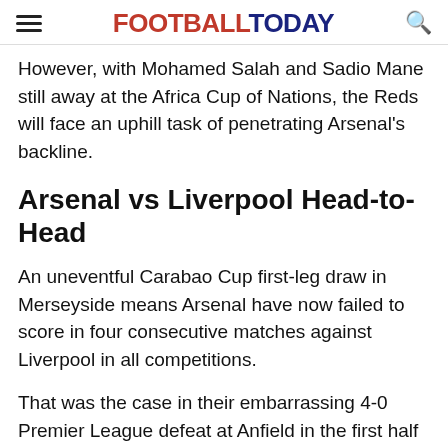FOOTBALLTODAY
However, with Mohamed Salah and Sadio Mane still away at the Africa Cup of Nations, the Reds will face an uphill task of penetrating Arsenal's backline.
Arsenal vs Liverpool Head-to-Head
An uneventful Carabao Cup first-leg draw in Merseyside means Arsenal have now failed to score in four consecutive matches against Liverpool in all competitions.
That was the case in their embarrassing 4-0 Premier League defeat at Anfield in the first half of the season.
The D...